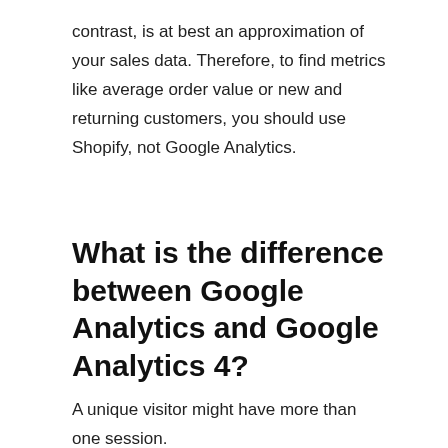contrast, is at best an approximation of your sales data. Therefore, to find metrics like average order value or new and returning customers, you should use Shopify, not Google Analytics.
What is the difference between Google Analytics and Google Analytics 4?
A unique visitor might have more than one session. Example: John visited your online store one time, Jane visited two times, and Jenna visited three times. The number of sessions is 6, and the number